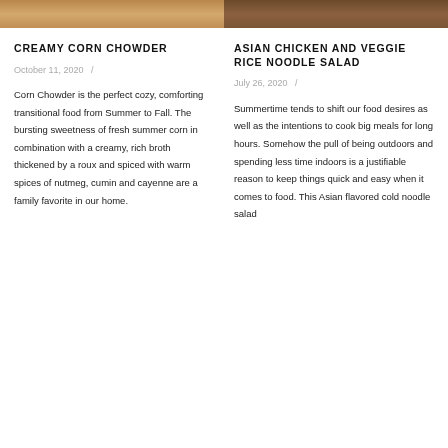[Figure (photo): Top-cropped food photo on left side, warm golden tones]
[Figure (photo): Top-cropped food photo on right side, darker brown tones]
CREAMY CORN CHOWDER
October 11, 2020  /
Corn Chowder is the perfect cozy, comforting transitional food from Summer to Fall. The bursting sweetness of fresh summer corn in combination with a creamy, rich broth thickened by a roux and spiced with warm spices of nutmeg, cumin and cayenne are a family favorite in our home.
ASIAN CHICKEN AND VEGGIE RICE NOODLE SALAD
July 26, 2020  /
Summertime tends to shift our food desires as well as the intentions to cook big meals for long hours. Somehow the pull of being outdoors and spending less time indoors is a justifiable reason to keep things quick and easy when it comes to food. This Asian flavored cold noodle salad